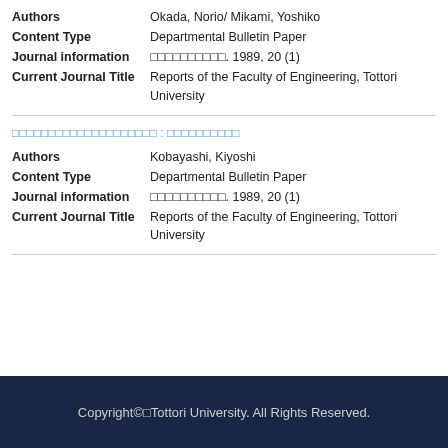| Field | Value |
| --- | --- |
| Authors | Okada, Norio/ Mikami, Yoshiko |
| Content Type | Departmental Bulletin Paper |
| Journal information | 鳥取大学工学部研究報告. 1989, 20 (1) |
| Current Journal Title | Reports of the Faculty of Engineering, Tottori University |
□□□□□□□□□□□□□□□□□□□□ : □□□□□□□□□□
| Field | Value |
| --- | --- |
| Authors | Kobayashi, Kiyoshi |
| Content Type | Departmental Bulletin Paper |
| Journal information | 鳥取大学工学部研究報告. 1989, 20 (1) |
| Current Journal Title | Reports of the Faculty of Engineering, Tottori University |
Copyright©C Tottori University. All Rights Reserved.